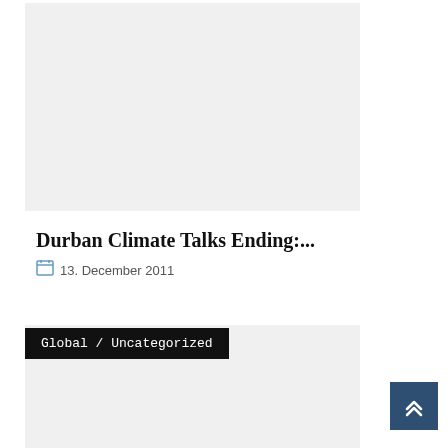[Figure (photo): Top image placeholder, light gray background]
Durban Climate Talks Ending:...
13. December 2011
Global / Uncategorized
[Figure (photo): Bottom image placeholder, light gray background]